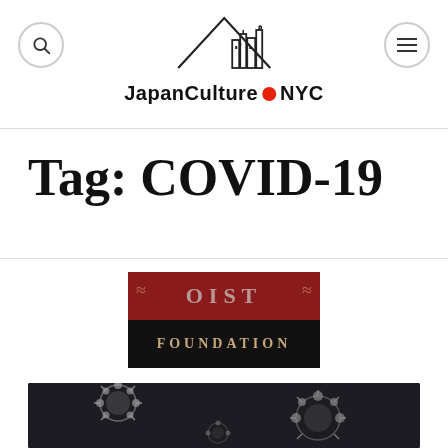JapanCulture NYC
Tag: COVID-19
[Figure (logo): Partial OIST Foundation logo — dark red top band with decorative lettering, black bottom band with 'FOUNDATION' in gold serif letters]
[Figure (photo): Dark background with grey coronavirus particles/molecules — microscopy style image]